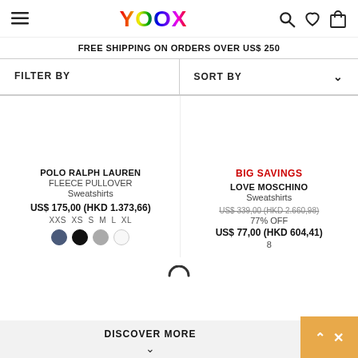YOOX
FREE SHIPPING ON ORDERS OVER US$ 250
FILTER BY | SORT BY
POLO RALPH LAUREN
FLEECE PULLOVER
Sweatshirts
US$ 175,00 (HKD 1.373,66)
XXS XS S M L XL
BIG SAVINGS
LOVE MOSCHINO
Sweatshirts
US$ 339,00 (HKD 2.660,98)
77% OFF
US$ 77,00 (HKD 604,41)
8
DISCOVER MORE